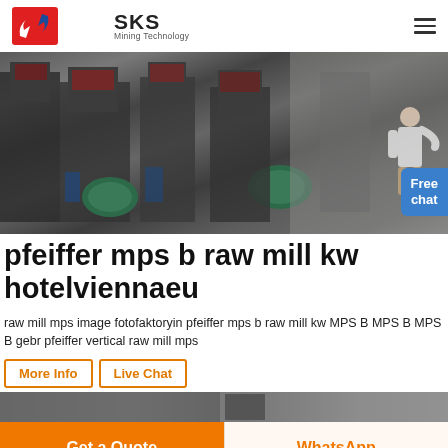SKS Mining Technology
[Figure (photo): Industrial mining machinery (mills/crushers) in a factory warehouse setting, with green electric motors visible.]
pfeiffer mps b raw mill kw hotelviennaeu
raw mill mps image fotofaktoryin pfeiffer mps b raw mill kw MPS B MPS B MPS B gebr pfeiffer vertical raw mill mps
More Info  Live Chat
[Figure (photo): Partial view of industrial equipment, dark tones, strip image at bottom of content area.]
Get a Quote
WhatsApp